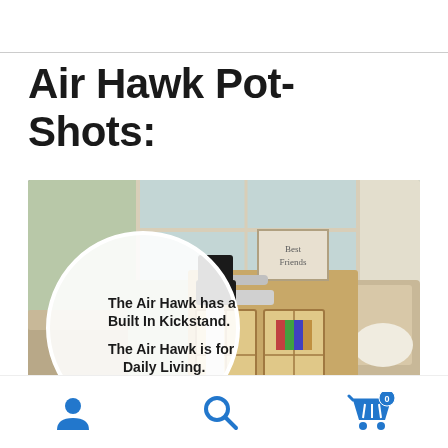Air Hawk Pot-Shots:
[Figure (photo): Photo of an Air Hawk power wheelchair/scooter standing upright on its kickstand in a home living room setting, with a sofa, cabinet with books, and windows visible. A white circle overlay on the left side of the image contains text: 'The Air Hawk has a Built In Kickstand. The Air Hawk is for Daily Living.']
Navigation icons: user account, search, shopping cart (0 items)